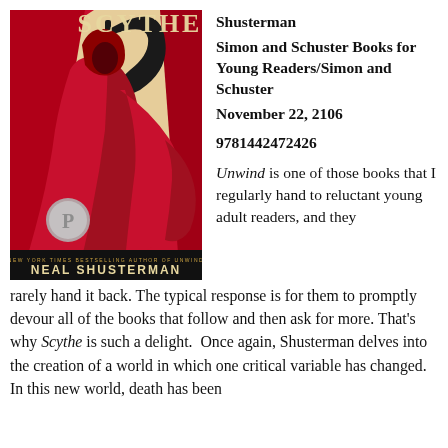[Figure (illustration): Book cover of Scythe by Neal Shusterman. Red-robed figure with scythe on cream/red background. Text reads 'NEW YORK TIMES BESTSELLING AUTHOR OF UNWIND / NEAL SHUSTERMAN'. Silver medal on cover.]
Shusterman
Simon and Schuster Books for Young Readers/Simon and Schuster
November 22, 2106
9781442472426
Unwind is one of those books that I regularly hand to reluctant young adult readers, and they rarely hand it back. The typical response is for them to promptly devour all of the books that follow and then ask for more. That's why Scythe is such a delight.  Once again, Shusterman delves into the creation of a world in which one critical variable has changed.  In this new world, death has been